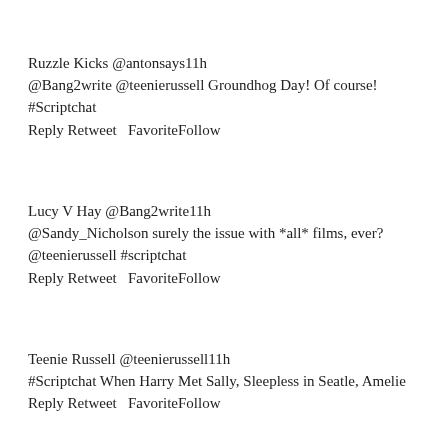Ruzzle Kicks @antonsays11h
@Bang2write @teenierussell Groundhog Day! Of course! #Scriptchat
Reply Retweet  FavoriteFollow
Lucy V Hay @Bang2write11h
@Sandy_Nicholson surely the issue with *all* films, ever? @teenierussell #scriptchat
Reply Retweet  FavoriteFollow
Teenie Russell @teenierussell11h
#Scriptchat When Harry Met Sally, Sleepless in Seatle, Amelie
Reply Retweet  FavoriteFollow